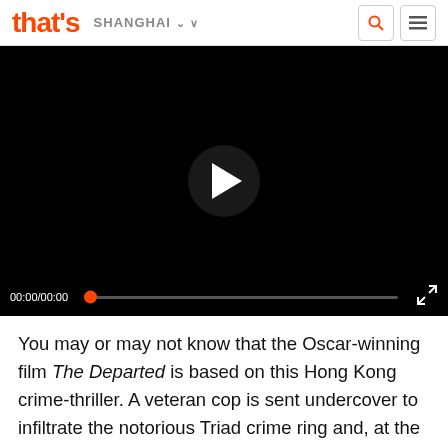that's SHANGHAI
[Figure (screenshot): Embedded video player with black background, play button in center, progress bar showing 00:00/00:00 at bottom]
You may or may not know that the Oscar-winning film The Departed is based on this Hong Kong crime-thriller. A veteran cop is sent undercover to infiltrate the notorious Triad crime ring and, at the same time, the Triad boss has also sent one of his own to infiltrate the police department. Roger Ebert writes, “The movie